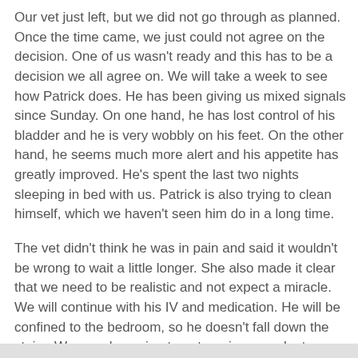Our vet just left, but we did not go through as planned. Once the time came, we just could not agree on the decision. One of us wasn't ready and this has to be a decision we all agree on. We will take a week to see how Patrick does. He has been giving us mixed signals since Sunday. On one hand, he has lost control of his bladder and he is very wobbly on his feet. On the other hand, he seems much more alert and his appetite has greatly improved. He's spent the last two nights sleeping in bed with us. Patrick is also trying to clean himself, which we haven't seen him do in a long time.
The vet didn't think he was in pain and said it wouldn't be wrong to wait a little longer. She also made it clear that we need to be realistic and not expect a miracle. We will continue with his IV and medication. He will be confined to the bedroom, so he doesn't fall down the stairs. We are also going to get a urine sample, to see if he has an infection that is causing his incontinence. I hope we haven't made a selfish decision that will cause him to suffer later. I am very confused right now and emotionally drained.